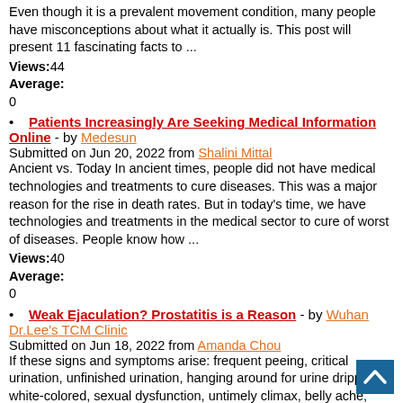Even though it is a prevalent movement condition, many people have misconceptions about what it actually is. This post will present 11 fascinating facts to ...
Views:44
Average:
0
Patients Increasingly Are Seeking Medical Information Online - by Medesun
Submitted on Jun 20, 2022 from Shalini Mittal
Ancient vs. Today In ancient times, people did not have medical technologies and treatments to cure diseases. This was a major reason for the rise in death rates. But in today's time, we have technologies and treatments in the medical sector to cure of worst of diseases. People know how ...
Views:40
Average:
0
Weak Ejaculation? Prostatitis is a Reason - by Wuhan Dr.Lee's TCM Clinic
Submitted on Jun 18, 2022 from Amanda Chou
If these signs and symptoms arise: frequent peeing, critical urination, unfinished urination, hanging around for urine dripping white-colored, sexual dysfunction, untimely climax, belly ache, testicular soreness, wet scrotum, and so on., it is apt to be brought on by prostatitis. Most men ...
Views:44
Average:
0